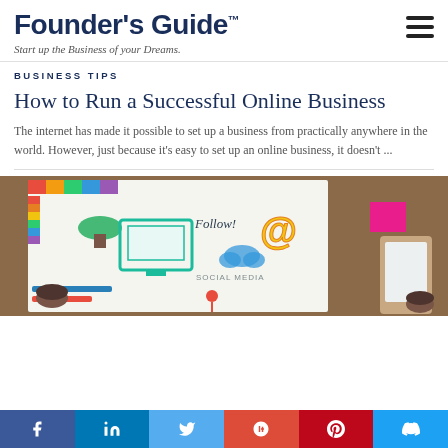Founder's Guide™ — Start up the Business of your Dreams.
BUSINESS TIPS
How to Run a Successful Online Business
The internet has made it possible to set up a business from practically anywhere in the world. However, just because it's easy to set up an online business, it doesn't ...
[Figure (photo): Overhead desk photo showing social media illustration with icons for Follow, @, cloud, social media, map pin, plus a monitor drawing, colorful sticky notes, markers, plant, coffee cups, and hands holding a device.]
[Figure (infographic): Social media share bar at the bottom showing icons for Facebook (blue), LinkedIn (dark blue), Twitter (light blue), Google+ (red-orange), Pinterest (red), and Twitter/other (dark blue).]